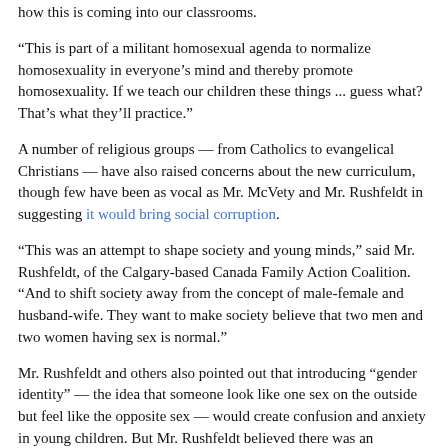how this is coming into our classrooms.
“This is part of a militant homosexual agenda to normalize homosexuality in everyone’s mind and thereby promote homosexuality. If we teach our children these things ... guess what? That’s what they’ll practice.”
A number of religious groups — from Catholics to evangelical Christians — have also raised concerns about the new curriculum, though few have been as vocal as Mr. McVety and Mr. Rushfeldt in suggesting it would bring social corruption.
“This was an attempt to shape society and young minds,” said Mr. Rushfeldt, of the Calgary-based Canada Family Action Coalition. “And to shift society away from the concept of male-female and husband-wife. They want to make society believe that two men and two women having sex is normal.”
Mr. Rushfeldt and others also pointed out that introducing “gender identity” — the idea that someone look like one sex on the outside but feel like the opposite sex — would create confusion and anxiety in young children. But Mr. Rushfeldt believed there was an additional agenda of indoctrination.
“They’re trying to ingrain in children a concept that society has